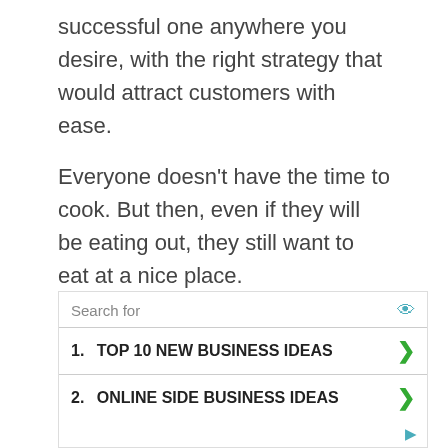successful one anywhere you desire, with the right strategy that would attract customers with ease.
Everyone doesn't have the time to cook. But then, even if they will be eating out, they still want to eat at a nice place.
Foreign Language Institute
There are several foreigners living in Abuja because of the concentration of embassies and
[Figure (other): Advertisement widget with search bar and two list items: 1. TOP 10 NEW BUSINESS IDEAS, 2. ONLINE SIDE BUSINESS IDEAS]